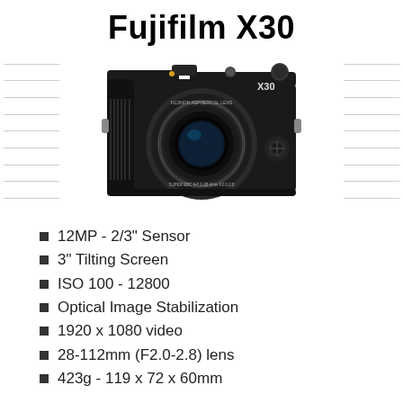Fujifilm X30
[Figure (photo): Fujifilm X30 compact camera, black body, shown in front view with FUJINON ASPHERICAL LENS 7.1-28.4mm F2.0-2.8 lens. X30 branding visible on top right of body.]
12MP - 2/3" Sensor
3" Tilting Screen
ISO 100 - 12800
Optical Image Stabilization
1920 x 1080 video
28-112mm (F2.0-2.8) lens
423g - 119 x 72 x 60mm